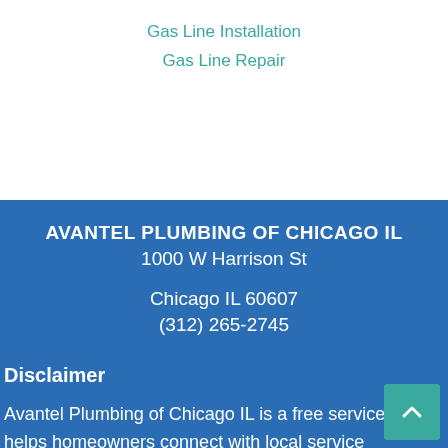Gas Line Installation
Gas Line Repair
AVANTEL PLUMBING OF CHICAGO IL
1000 W Harrison St
Chicago IL 60607
(312) 265-2745
Disclaimer
Avantel Plumbing of Chicago IL is a free service that helps homeowners connect with local service contractors. All contractors are independent and Avantel Plumbing Chicago IL does not warrant or guarantee any work performed by any service provider of this listing.